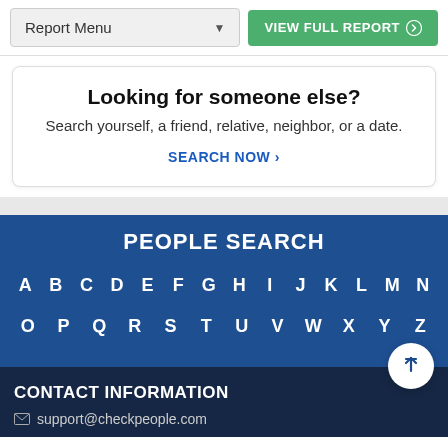[Figure (screenshot): Top navigation bar with Report Menu dropdown and VIEW FULL REPORT green button]
Looking for someone else?
Search yourself, a friend, relative, neighbor, or a date.
SEARCH NOW ›
PEOPLE SEARCH
A B C D E F G H I J K L M N
O P Q R S T U V W X Y Z
CONTACT INFORMATION
support@checkpeople.com